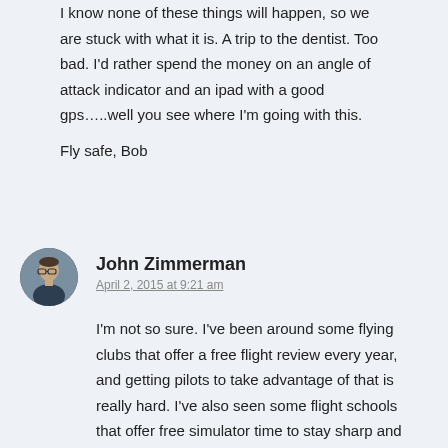I know none of these things will happen, so we are stuck with what it is. A trip to the dentist. Too bad. I'd rather spend the money on an angle of attack indicator and an ipad with a good gps…..well you see where I'm going with this.

Fly safe, Bob
John Zimmerman
April 2, 2015 at 9:21 am
I'm not so sure. I've been around some flying clubs that offer a free flight review every year, and getting pilots to take advantage of that is really hard. I've also seen some flight schools that offer free simulator time to stay sharp and